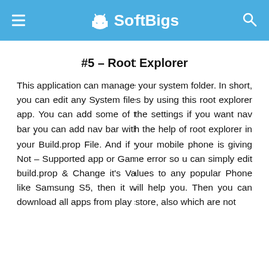SoftBigs
#5 – Root Explorer
This application can manage your system folder. In short, you can edit any System files by using this root explorer app. You can add some of the settings if you want nav bar you can add nav bar with the help of root explorer in your Build.prop File. And if your mobile phone is giving Not – Supported app or Game error so u can simply edit build.prop & Change it's Values to any popular Phone like Samsung S5, then it will help you. Then you can download all apps from play store, also which are not supported by your Mobile Phone. This